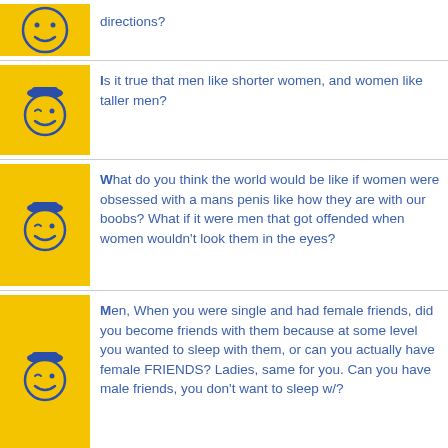directions?
Is it true that men like shorter women, and women like taller men?
What do you think the world would be like if women were obsessed with a mans penis like how they are with our boobs? What if it were men that got offended when women wouldn't look them in the eyes?
Men, When you were single and had female friends, did you become friends with them because at some level you wanted to sleep with them, or can you actually have female FRIENDS? Ladies, same for you. Can you have male friends, you don't want to sleep w/?